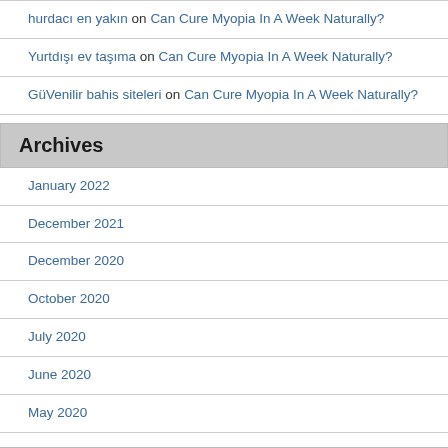hurdacı en yakın on Can Cure Myopia In A Week Naturally?
Yurtdışı ev taşıma on Can Cure Myopia In A Week Naturally?
GüVenilir bahis siteleri on Can Cure Myopia In A Week Naturally?
Archives
January 2022
December 2021
December 2020
October 2020
July 2020
June 2020
May 2020
Categories